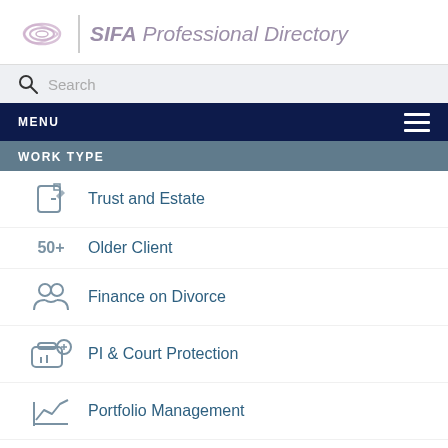SIFA Professional Directory
Search
MENU
WORK TYPE
Trust and Estate
Older Client
Finance on Divorce
PI & Court Protection
Portfolio Management
Corporate